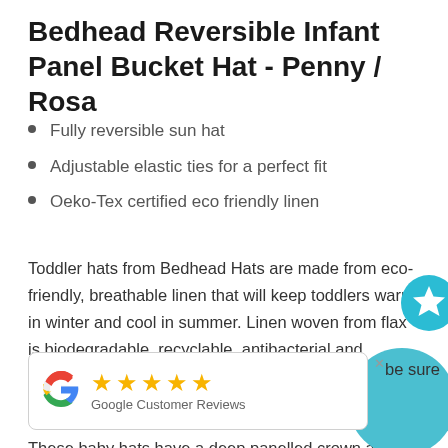Bedhead Reversible Infant Panel Bucket Hat - Penny / Rosa
Fully reversible sun hat
Adjustable elastic ties for a perfect fit
Oeko-Tex certified eco friendly linen
Toddler hats from Bedhead Hats are made from eco-friendly, breathable linen that will keep toddlers warm in winter and cool in summer. Linen woven from flax is biodegradable, recyclable, antibacterial and hypoallergenic, making it a safer choice for babies and the environment! It's
[Figure (other): Teal circular button with white star icon (wishlist/favourite button)]
[Figure (other): Google Customer Reviews widget showing 5 gold stars and Google G logo with close button]
[Figure (other): Large teal filled circle decorative element in bottom-right corner]
These baby hats have a deep panelled crown and